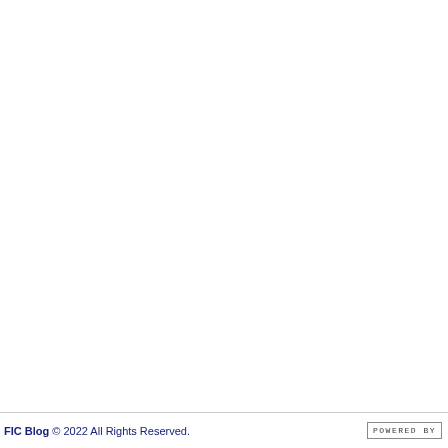FIC Blog © 2022 All Rights Reserved. POWERED BY